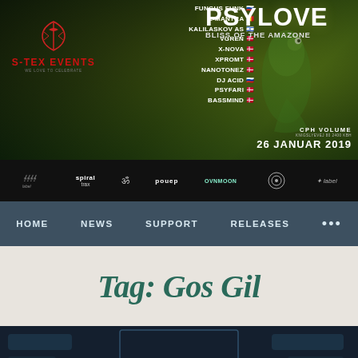[Figure (illustration): Event banner for PsyLove 'Bliss of the Amazone' at CPH Volume on 26 Januar 2019. Shows S-Tex Events logo on left, artist lineup including Fungus Funk, E-Mantra, Kalilaskov AS, vGren, X-Nova, Xpromt, NanoTonez, DJ Acid, Psyfari, Bassmind, with country flags. Green jungle background with chameleon motif. Title 'PSYLOVE BLISS OF THE AMAZONE' on right side.]
[Figure (illustration): Sponsors bar showing logos: spiral trax, Om symbol, pouep, ovnmoon, and other sponsor logos on dark background]
HOME   NEWS   SUPPORT   RELEASES   ...
Tag: Gos Gil
[Figure (illustration): Bottom card with dark blue background, sci-fi style shapes, bordered frame showing 'MIND-EXPANDERS' text in gold]
Follow ...